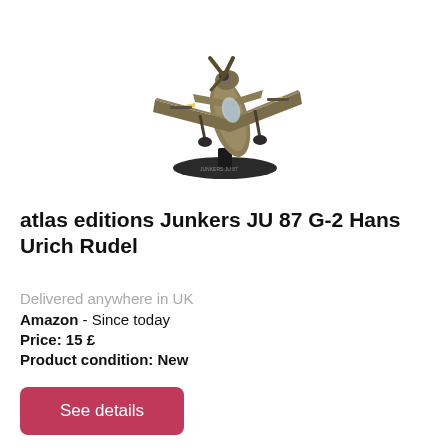[Figure (photo): Scale model diecast airplane — Junkers JU 87 G-2, camouflage paint with yellow markings, displayed on a black oval base, viewed from front-left angle.]
atlas editions Junkers JU 87 G-2 Hans Urich Rudel
Delivered anywhere in UK
Amazon  - Since today
Price: 15 £
Product condition: New
See details